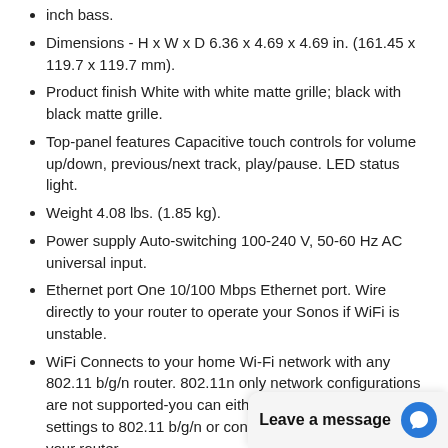inch bass.
Dimensions - H x W x D 6.36 x 4.69 x 4.69 in. (161.45 x 119.7 x 119.7 mm).
Product finish White with white matte grille; black with black matte grille.
Top-panel features Capacitive touch controls for volume up/down, previous/next track, play/pause. LED status light.
Weight 4.08 lbs. (1.85 kg).
Power supply Auto-switching 100-240 V, 50-60 Hz AC universal input.
Ethernet port One 10/100 Mbps Ethernet port. Wire directly to your router to operate your Sonos if WiFi is unstable.
WiFi Connects to your home Wi-Fi network with any 802.11 b/g/n router. 802.11n only network configurations are not supported-you can either change the router settings to 802.11 b/g/n or connect a Sonos product to your router.
Apple AirPlay 2 Works with AirPlay 2 on Apple devices iOS 11.4 and higher.
Sonos Beam, po... Audio Adapter,